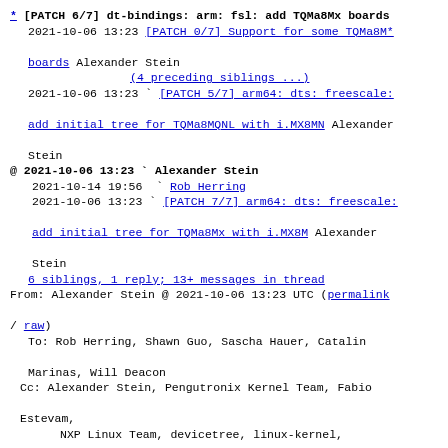* [PATCH 6/7] dt-bindings: arm: fsl: add TQMa8Mx boards
  2021-10-06 13:23 [PATCH 0/7] Support for some TQMa8M* boards Alexander Stein
                    (4 preceding siblings ...)
  2021-10-06 13:23 ` [PATCH 5/7] arm64: dts: freescale: add initial tree for TQMa8MQNL with i.MX8MN Alexander Stein
@ 2021-10-06 13:23 ` Alexander Stein
  2021-10-14 19:56   ` Rob Herring
  2021-10-06 13:23 ` [PATCH 7/7] arm64: dts: freescale: add initial tree for TQMa8Mx with i.MX8M Alexander Stein
  6 siblings, 1 reply; 13+ messages in thread
From: Alexander Stein @ 2021-10-06 13:23 UTC (permalink / raw)
  To: Rob Herring, Shawn Guo, Sascha Hauer, Catalin Marinas, Will Deacon
  Cc: Alexander Stein, Pengutronix Kernel Team, Fabio Estevam,
        NXP Linux Team, devicetree, linux-kernel, linux-arm-kernel
TQMa8Mx is a SOM family using NXP i.MX8M[Q,QL, D] CPU
MBa8Mx is a evaluation mainbord for this SOM
The SOM needs a mainboard, therefore we provide two compatibles here:
"tq,imx8mq-<SOM>" for the module and
"tq,imx8mq-<SOM>-<SBC>" for the module on that